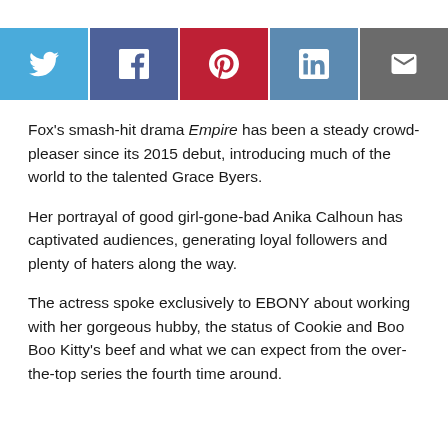[Figure (other): Social media sharing buttons bar: Twitter (blue), Facebook (dark blue), Pinterest (red), LinkedIn (blue-grey), Email (grey)]
Fox's smash-hit drama Empire has been a steady crowd-pleaser since its 2015 debut, introducing much of the world to the talented Grace Byers.
Her portrayal of good girl-gone-bad Anika Calhoun has captivated audiences, generating loyal followers and plenty of haters along the way.
The actress spoke exclusively to EBONY about working with her gorgeous hubby, the status of Cookie and Boo Boo Kitty's beef and what we can expect from the over-the-top series the fourth time around.